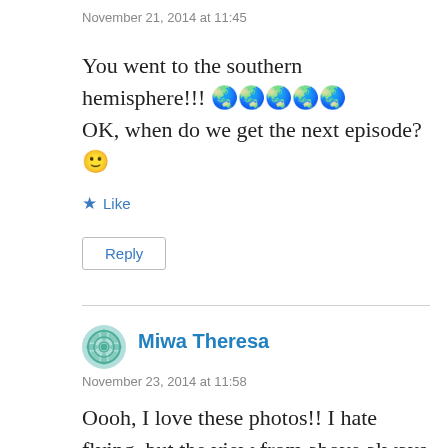November 21, 2014 at 11:45
You went to the southern hemisphere!!! 🌏🌏🌏🌏🌏 OK, when do we get the next episode? 🙂
★ Like
Reply
Miwa Theresa
November 23, 2014 at 11:58
Oooh, I love these photos!! I hate flying, but the view from above always manages to make feel a little bit better 😉 Can't wait to read about the rest of your trip!